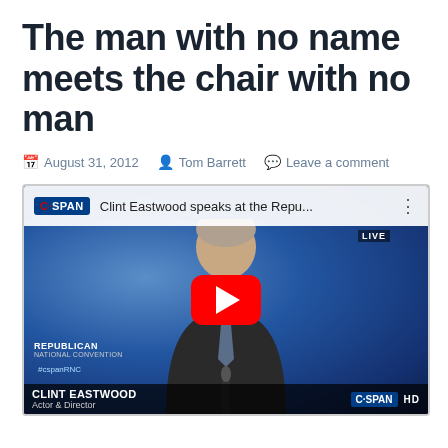The man with no name meets the chair with no man
August 31, 2012  Tom Barrett  Leave a comment
[Figure (screenshot): YouTube video embed showing C-SPAN coverage of Clint Eastwood speaking at the Republican National Convention. Video title: 'Clint Eastwood speaks at the Repu...' with a red YouTube play button overlay. Bottom overlay shows 'CLINT EASTWOOD, Actor & Director' with Republican National Convention logo and C-SPAN HD branding.]